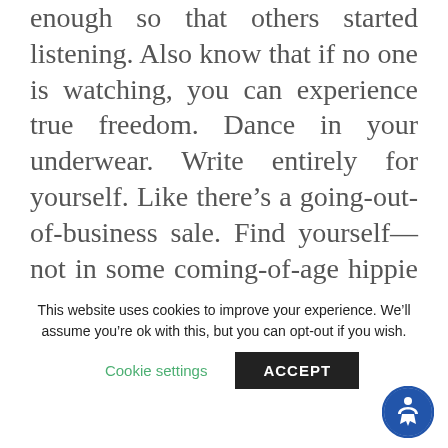enough so that others started listening. Also know that if no one is watching, you can experience true freedom. Dance in your underwear. Write entirely for yourself. Like there's a going-out-of-business sale. Find yourself—not in some coming-of-age hippie way involving pasta and ashrams—but in a way that helps you draw your own line in the sand for what matters and what doesn't. Do what you want to do, just because you want to do that thing. This will build confidence that will come in handy
This website uses cookies to improve your experience. We'll assume you're ok with this, but you can opt-out if you wish.
Cookie settings    ACCEPT